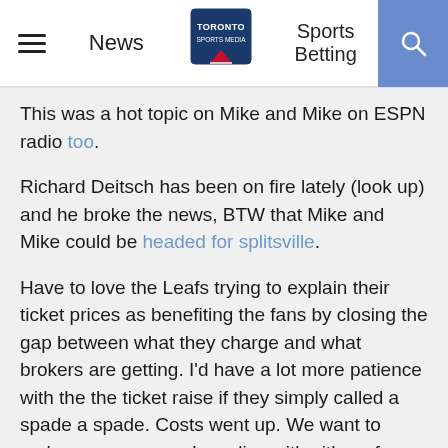News | Toronto Sports Media | Sports Betting
This was a hot topic on Mike and Mike on ESPN radio too.
Richard Deitsch has been on fire lately (look up) and he broke the news, BTW that Mike and Mike could be headed for splitsville.
Have to love the Leafs trying to explain their ticket prices as benefiting the fans by closing the gap between what they charge and what brokers are getting. I'd have a lot more patience with the the ticket raise if they simply called a spade a spade. Costs went up. We want to make more money.  I can live with either of those answers.
77
Keller wrote this piece in the Globe and Mail attempting to connect high ticket prices in Toronto with